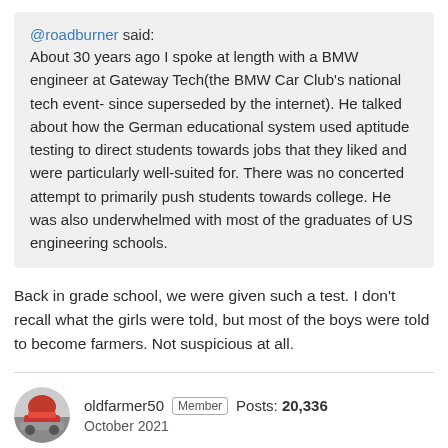@roadburner said: About 30 years ago I spoke at length with a BMW engineer at Gateway Tech(the BMW Car Club's national tech event- since superseded by the internet). He talked about how the German educational system used aptitude testing to direct students towards jobs that they liked and were particularly well-suited for. There was no concerted attempt to primarily push students towards college. He was also underwhelmed with most of the graduates of US engineering schools.
Back in grade school, we were given such a test. I don't recall what the girls were told, but most of the boys were told to become farmers. Not suspicious at all.
oldfarmer50 Member Posts: 20,336 October 2021
28firefighter said: